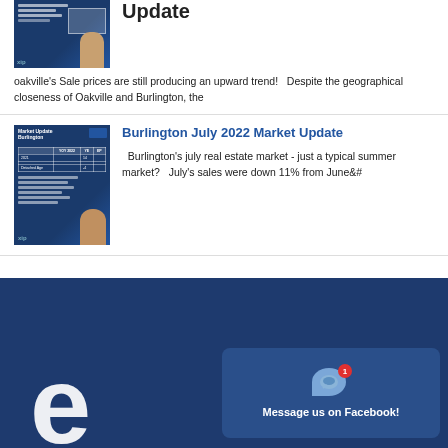Update
oakville's Sale prices are still producing an upward trend!   Despite the geographical closeness of Oakville and Burlington, the
Burlington July 2022 Market Update
Burlington's july real estate market - just a typical summer market?   July's sales were down 11% from June&#
Message us on Facebook!